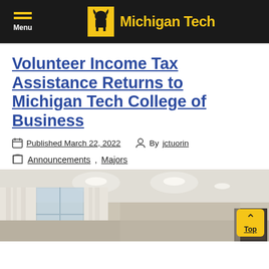Menu | Michigan Tech
Volunteer Income Tax Assistance Returns to Michigan Tech College of Business
Published March 22, 2022   By jctuorin
Announcements , Majors
[Figure (photo): Interior photo of a room with white curtains, windows, and recessed ceiling lights]